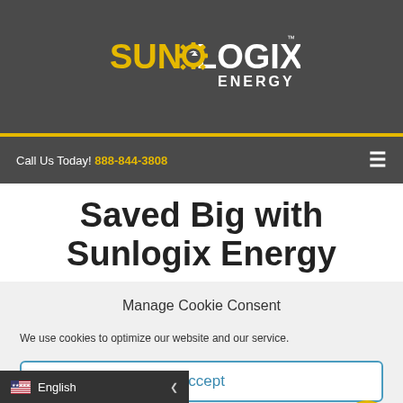[Figure (logo): SunLogix Energy logo — white and yellow stylized text with a gear-sun icon, on dark gray background]
Call Us Today! 888-844-3808
Saved Big with Sunlogix Energy
Manage Cookie Consent
We use cookies to optimize our website and our service.
Accept
Cookie Policy  Privacy Policy
English